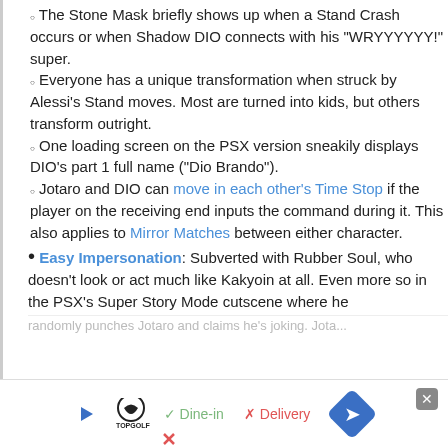The Stone Mask briefly shows up when a Stand Crash occurs or when Shadow DIO connects with his "WRYYYYYY!" super.
Everyone has a unique transformation when struck by Alessi's Stand moves. Most are turned into kids, but others transform outright.
One loading screen on the PSX version sneakily displays DIO's part 1 full name ("Dio Brando").
Jotaro and DIO can move in each other's Time Stop if the player on the receiving end inputs the command during it. This also applies to Mirror Matches between either character.
Easy Impersonation: Subverted with Rubber Soul, who doesn't look or act much like Kakyoin at all. Even more so in the PSX's Super Story Mode cutscene where he randomly punches Jotaro and claims he's joking. Jota...